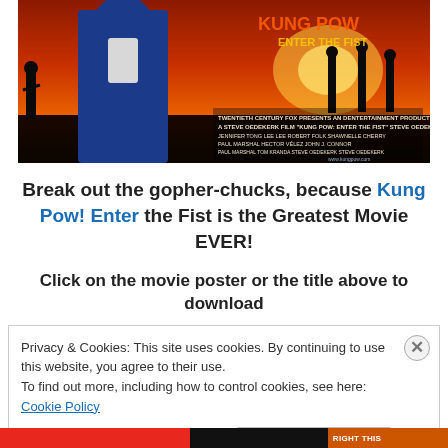[Figure (photo): Movie poster for Kung Pow! Enter the Fist showing martial arts silhouettes against an orange/red sunset sky with movie credits text]
Break out the gopher-chucks, because Kung Pow! Enter the Fist is the Greatest Movie EVER!
Click on the movie poster or the title above to download
Privacy & Cookies: This site uses cookies. By continuing to use this website, you agree to their use.
To find out more, including how to control cookies, see here: Cookie Policy
Close and accept